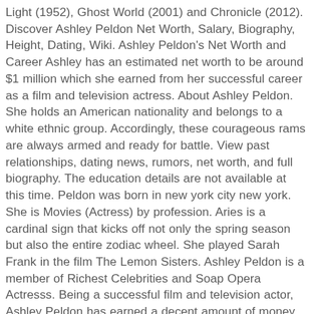Light (1952), Ghost World (2001) and Chronicle (2012). Discover Ashley Peldon Net Worth, Salary, Biography, Height, Dating, Wiki. Ashley Peldon's Net Worth and Career Ashley has an estimated net worth to be around $1 million which she earned from her successful career as a film and television actress. About Ashley Peldon. She holds an American nationality and belongs to a white ethnic group. Accordingly, these courageous rams are always armed and ready for battle. View past relationships, dating news, rumors, net worth, and full biography. The education details are not available at this time. Peldon was born in new york city new york. She is Movies (Actress) by profession. Aries is a cardinal sign that kicks off not only the spring season but also the entire zodiac wheel. She played Sarah Frank in the film The Lemon Sisters. Ashley Peldon is a member of Richest Celebrities and Soap Opera Actresss. Being a successful film and television actor, Ashley Peldon has earned a decent amount of money from the entertainment industry. This post is often updated with new information on Ashley Peldon's estimated income, salary and earnings. Who is Ashley Peldon dating now? Ghost World (2001)as